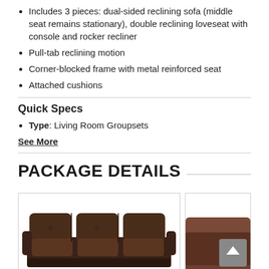Includes 3 pieces: dual-sided reclining sofa (middle seat remains stationary), double reclining loveseat with console and rocker recliner
Pull-tab reclining motion
Corner-blocked frame with metal reinforced seat
Attached cushions
Quick Specs
Type: Living Room Groupsets
See More
PACKAGE DETAILS
[Figure (photo): Dark brown leather reclining sofa, partial view from above]
[Figure (photo): Partial view of second product card with scroll-to-top button overlay]